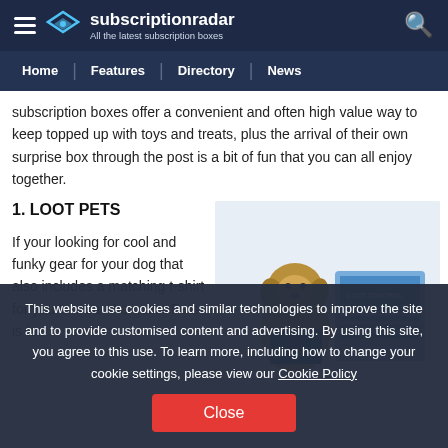subscriptionradar — All the latest subscription boxes
Home | Features | Directory | News
subscription boxes offer a convenient and often high value way to keep topped up with toys and treats, plus the arrival of their own surprise box through the post is a bit of fun that you can all enjoy together.
1. LOOT PETS
[Figure (photo): Loot Pets logo and product photo showing a dog in a blue t-shirt next to a Loot Control box]
If your looking for cool and funky gear for your dog that also includes a matching t-shirt for you to wear then Loot Pets is for
This website use cookies and similar technologies to improve the site and to provide customised content and advertising. By using this site, you agree to this use. To learn more, including how to change your cookie settings, please view our Cookie Policy